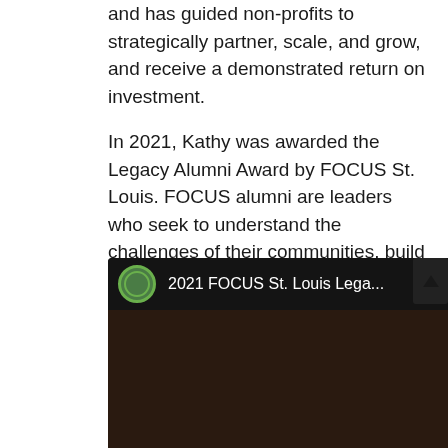and has guided non-profits to strategically partner, scale, and grow, and receive a demonstrated return on investment.

In 2021, Kathy was awarded the Legacy Alumni Award by FOCUS St. Louis. FOCUS alumni are leaders who seek to understand the challenges of their communities, build networks and work toward solutions. She also received the Volunteer Service Award from President Obama in 2013.
[Figure (screenshot): YouTube video embed showing '2021 FOCUS St. Louis Lega...' with a green circular logo, video title bar, and a dark thumbnail with a red play button. A woman's face is partially visible in the thumbnail. Caption reads 'Well done, good and'.]